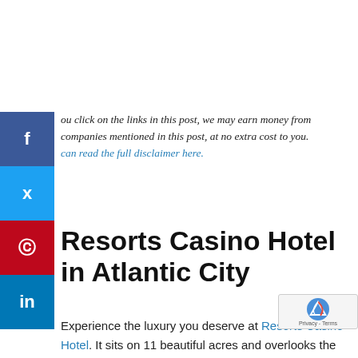ou click on the links in this post, we may earn money from companies mentioned in this post, at no extra cost to you. can read the full disclaimer here.
Resorts Casino Hotel in Atlantic City
Experience the luxury you deserve at Resorts Casino Hotel. It sits on 11 beautiful acres and overlooks the Atlantic Ocean and the Atlantic City Boardwalk. Their standard guest rooms...